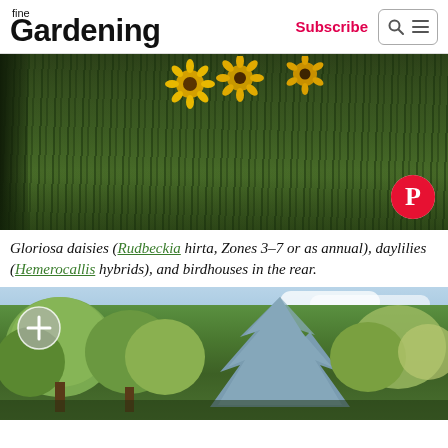fine Gardening | Subscribe
[Figure (photo): Close-up of a green lawn with yellow Gloriosa daisies (Rudbeckia hirta) blooming at the top, and a dark garden edge on the left. Pinterest icon overlay in bottom right corner.]
Gloriosa daisies (Rudbeckia hirta, Zones 3–7 or as annual), daylilies (Hemerocallis hybrids), and birdhouses in the rear.
[Figure (photo): Garden landscape with a mix of deciduous and evergreen trees including a blue spruce in the center, under a partly cloudy sky. A circular plus/zoom icon is shown in the top left.]